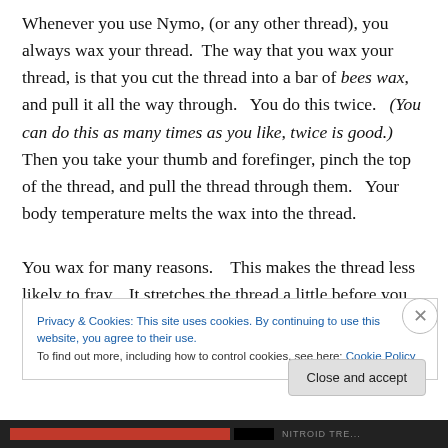Whenever you use Nymo, (or any other thread), you always wax your thread.  The way that you wax your thread, is that you cut the thread into a bar of bees wax, and pull it all the way through.   You do this twice.   (You can do this as many times as you like, twice is good.) Then you take your thumb and forefinger, pinch the top of the thread, and pull the thread through them.   Your body temperature melts the wax into the thread.

You wax for many reasons.    This makes the thread less likely to fray.   It stretches the thread a little before you use
Privacy & Cookies: This site uses cookies. By continuing to use this website, you agree to their use.
To find out more, including how to control cookies, see here: Cookie Policy